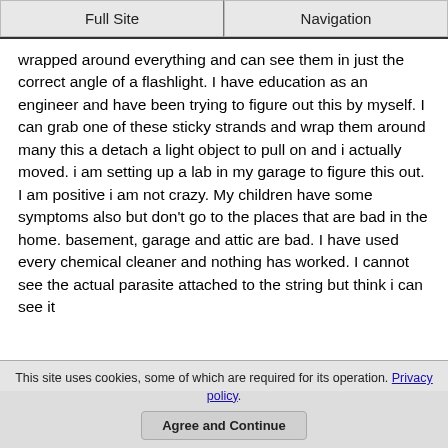Full Site | Navigation
wrapped around everything and can see them in just the correct angle of a flashlight. I have education as an engineer and have been trying to figure out this by myself. I can grab one of these sticky strands and wrap them around many this a detach a light object to pull on and i actually moved. i am setting up a lab in my garage to figure this out. I am positive i am not crazy. My children have some symptoms also but don't go to the places that are bad in the home. basement, garage and attic are bad. I have used every chemical cleaner and nothing has worked. I cannot see the actual parasite attached to the string but think i can see it
This site uses cookies, some of which are required for its operation. Privacy policy. Agree and Continue